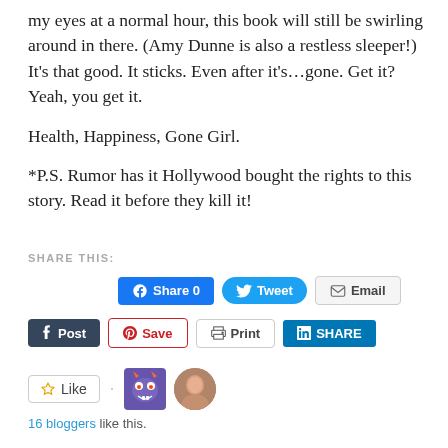my eyes at a normal hour, this book will still be swirling around in there. (Amy Dunne is also a restless sleeper!) It’s that good. It sticks. Even after it’s…gone. Get it? Yeah, you get it.
Health, Happiness, Gone Girl.
*P.S. Rumor has it Hollywood bought the rights to this story. Read it before they kill it!
SHARE THIS:
[Figure (screenshot): Social sharing buttons row 1: Facebook Share 0, Tweet, Email]
[Figure (screenshot): Social sharing buttons row 2: Tumblr Post, Pinterest Save, Print, LinkedIn Share]
[Figure (screenshot): Like button, monster avatar, two blogger profile photos]
16 bloggers like this.